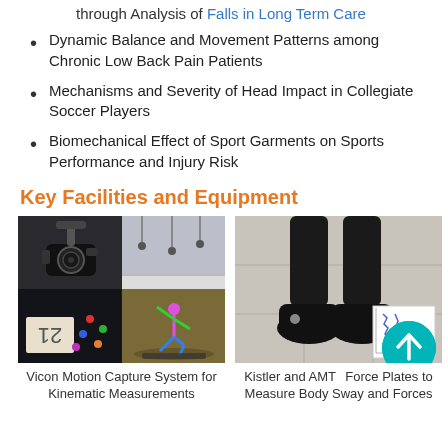through Analysis of Falls in Long Term Care
Dynamic Balance and Movement Patterns among Chronic Low Back Pain Patients
Mechanisms and Severity of Head Impact in Collegiate Soccer Players
Biomechanical Effect of Sport Garments on Sports Performance and Injury Risk
Key Facilities and Equipment
[Figure (photo): Four-panel collage: top-left shows a camera/sensor device, top-right shows a motion capture lab with hanging equipment, bottom-left shows motion capture markers on a surface with a numbered card, bottom-right shows a 3D rendered figure performing an athletic motion. Caption: Vicon Motion Capture System for Kinematic Measurements]
Vicon Motion Capture System for Kinematic Measurements
[Figure (photo): A person's legs and feet in black shoes standing on a tiled floor, with a small inset chart overlay in the bottom-right corner. Caption: Kistler and AMT Force Plates to Measure Body Sway and Forces]
Kistler and AMTe Plates to Measure Body Sway and Forces